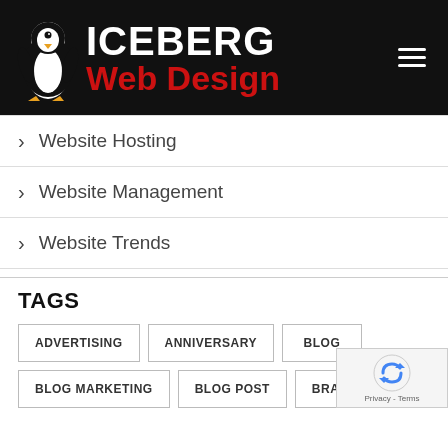[Figure (logo): Iceberg Web Design logo: white penguin icon on black background, with 'ICEBERG' in white bold text and 'Web Design' in red bold text, plus hamburger menu icon on right]
> Website Hosting
> Website Management
> Website Trends
TAGS
ADVERTISING
ANNIVERSARY
BLOG
BLOG MARKETING
BLOG POST
BRANDING